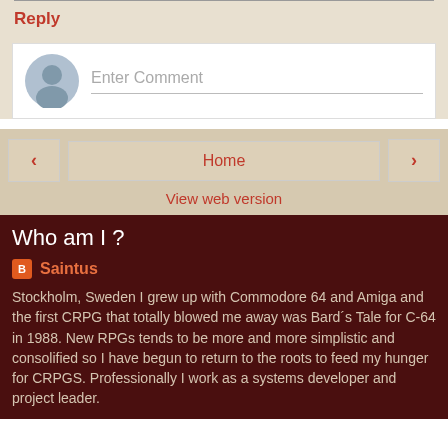Reply
[Figure (other): Comment input box with avatar placeholder and 'Enter Comment' text]
Home
View web version
Who am I ?
Saintus
Stockholm, Sweden I grew up with Commodore 64 and Amiga and the first CRPG that totally blowed me away was Bard´s Tale for C-64 in 1988. New RPGs tends to be more and more simplistic and consolified so I have begun to return to the roots to feed my hunger for CRPGS. Professionally I work as a systems developer and project leader.